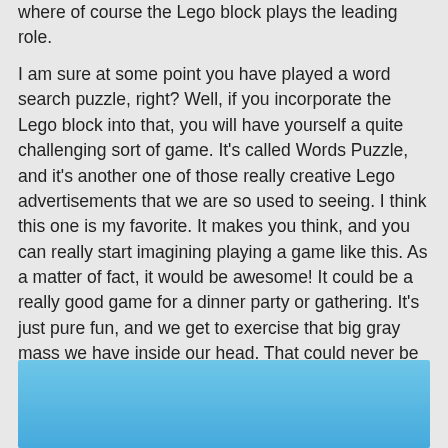where of course the Lego block plays the leading role.
I am sure at some point you have played a word search puzzle, right? Well, if you incorporate the Lego block into that, you will have yourself a quite challenging sort of game. It's called Words Puzzle, and it's another one of those really creative Lego advertisements that we are so used to seeing. I think this one is my favorite. It makes you think, and you can really start imagining playing a game like this. As a matter of fact, it would be awesome! It could be a really good game for a dinner party or gathering. It's just pure fun, and we get to exercise that big gray mass we have inside our head. That could never be wrong, right?
[Figure (photo): A blue sky or background image, partially visible at the bottom of the page.]